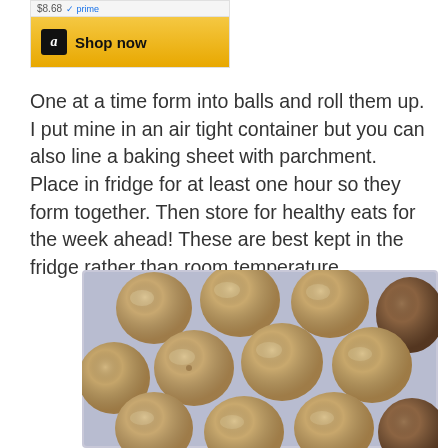[Figure (screenshot): Amazon 'Shop now' widget showing price $8.68 and Amazon logo button with gold background]
One at a time form into balls and roll them up. I put mine in an air tight container but you can also line a baking sheet with parchment. Place in fridge for at least one hour so they form together. Then store for healthy eats for the week ahead! These are best kept in the fridge rather than room temperature.
[Figure (photo): Photo of approximately 12 round energy balls/protein balls arranged in a clear plastic container with a purple-tinted lid or liner visible]